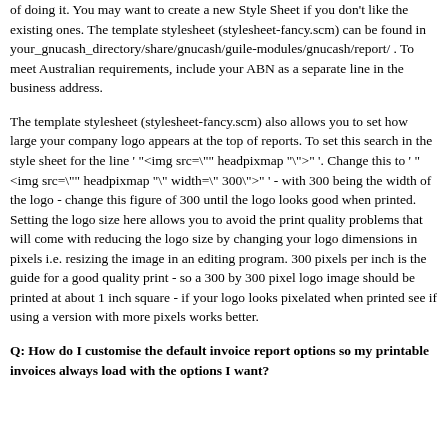of doing it. You may want to create a new Style Sheet if you don't like the existing ones. The template stylesheet (stylesheet-fancy.scm) can be found in your_gnucash_directory/share/gnucash/guile-modules/gnucash/report/ . To meet Australian requirements, include your ABN as a separate line in the business address.
The template stylesheet (stylesheet-fancy.scm) also allows you to set how large your company logo appears at the top of reports. To set this search in the style sheet for the line ' "<img src=\"" headpixmap "\">" '. Change this to ' "<img src=\"" headpixmap "\" width=\" 300\">" ' - with 300 being the width of the logo - change this figure of 300 until the logo looks good when printed. Setting the logo size here allows you to avoid the print quality problems that will come with reducing the logo size by changing your logo dimensions in pixels i.e. resizing the image in an editing program. 300 pixels per inch is the guide for a good quality print - so a 300 by 300 pixel logo image should be printed at about 1 inch square - if your logo looks pixelated when printed see if using a version with more pixels works better.
Q: How do I customise the default invoice report options so my printable invoices always load with the options I want?